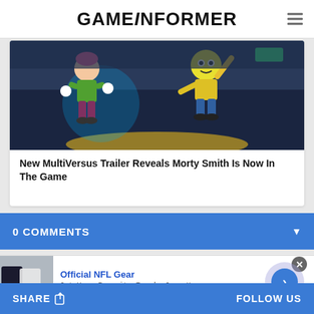GAMEINFORMER
[Figure (screenshot): Game screenshot showing two animated characters in a battle arena - MultiVersus featuring Morty Smith]
New MultiVersus Trailer Reveals Morty Smith Is Now In The Game
0 COMMENTS
[Figure (photo): Advertisement banner for Official NFL Gear showing NFL jerseys and apparel]
Official NFL Gear
Get Your Favorite Team's Gear Here
www.nflshop.com
SHARE    FOLLOW US